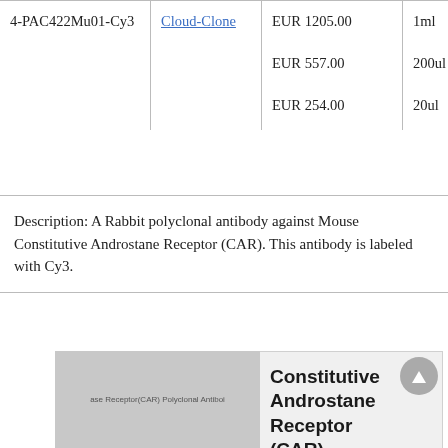|  | Vendor | Price | Size |
| --- | --- | --- | --- |
| 4-PAC422Mu01-Cy3 | Cloud-Clone | EUR 1205.00
EUR 557.00
EUR 254.00 | 1ml
200ul
20ul |
Description: A Rabbit polyclonal antibody against Mouse Constitutive Androstane Receptor (CAR). This antibody is labeled with Cy3.
[Figure (photo): Product thumbnail image placeholder for Constitutive Androstane Receptor (CAR) Polyclonal Antibody (Mouse) with text overlay]
Constitutive Androstane Receptor (CAR) Polyclonal Antibody (Mouse),